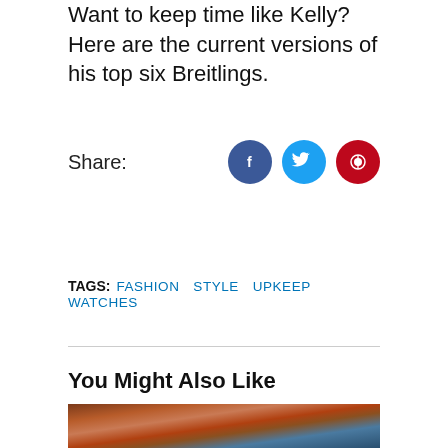Want to keep time like Kelly? Here are the current versions of his top six Breitlings.
Share:
TAGS: FASHION  STYLE  UPKEEP  WATCHES
You Might Also Like
[Figure (photo): Thumbnail image for a related article, showing a dark reddish-orange illustrated figure against a colorful background.]